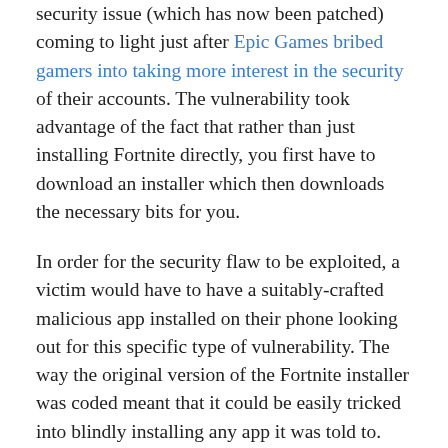security issue (which has now been patched) coming to light just after Epic Games bribed gamers into taking more interest in the security of their accounts. The vulnerability took advantage of the fact that rather than just installing Fortnite directly, you first have to download an installer which then downloads the necessary bits for you.
In order for the security flaw to be exploited, a victim would have to have a suitably-crafted malicious app installed on their phone looking out for this specific type of vulnerability. The way the original version of the Fortnite installer was coded meant that it could be easily tricked into blindly installing any app it was told to.
The issue is explained on Google's Issue Tracker website: